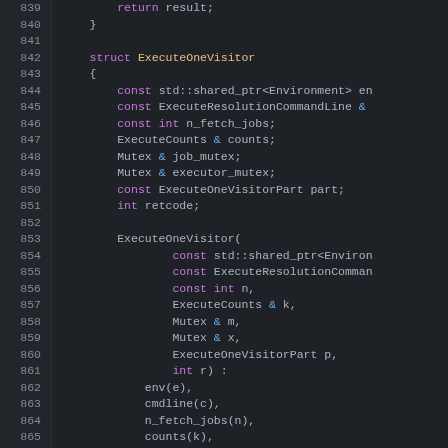[Figure (screenshot): C++ source code editor screenshot showing lines 839-866 of a file, dark theme, displaying a struct ExecuteOneVisitor definition with member variables and constructor parameters.]